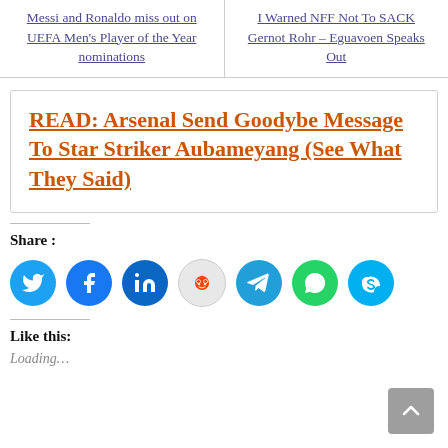Messi and Ronaldo miss out on UEFA Men's Player of the Year nominations
I Warned NFF Not To SACK Gernot Rohr – Eguavoen Speaks Out
READ: Arsenal Send Goodybe Message To Star Striker Aubameyang (See What They Said)
Share :
[Figure (infographic): Row of 7 social media share buttons: Twitter (blue), Facebook (blue), LinkedIn (dark blue), Reddit (light grey), Telegram (blue), WhatsApp (green), Skype (light blue)]
Like this:
Loading...